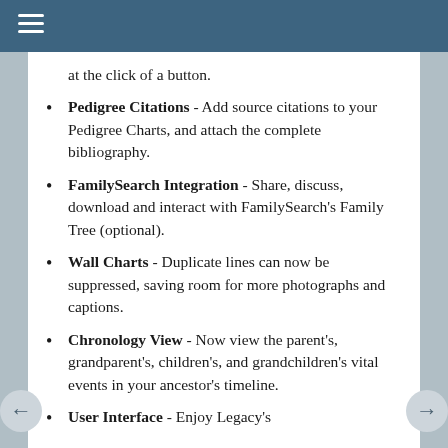≡
at the click of a button.
Pedigree Citations - Add source citations to your Pedigree Charts, and attach the complete bibliography.
FamilySearch Integration - Share, discuss, download and interact with FamilySearch's Family Tree (optional).
Wall Charts - Duplicate lines can now be suppressed, saving room for more photographs and captions.
Chronology View - Now view the parent's, grandparent's, children's, and grandchildren's vital events in your ancestor's timeline.
User Interface - Enjoy Legacy's